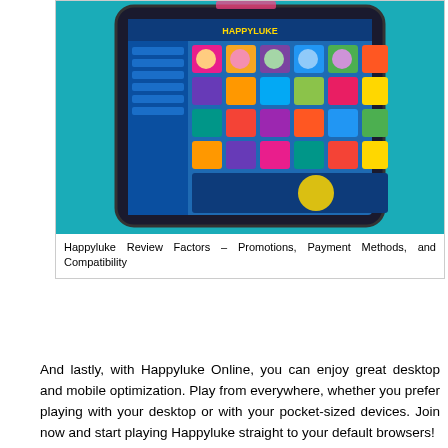[Figure (screenshot): A smartphone displaying a casino/gaming website (Happyluke) with colorful game icons and a blue interface, set against a teal background.]
Happyluke Review Factors – Promotions, Payment Methods, and Compatibility
And lastly, with Happyluke Online, you can enjoy great desktop and mobile optimization. Play from everywhere, whether you prefer playing with your desktop or with your pocket-sized devices. Join now and start playing Happyluke straight to your default browsers!
Promotions
Aside from great games, the website features the best promos online. Enjoy extra income from promotions such as Welcome Bonus, Weekly Rebates, Loyalty Program, Tournaments, and so much more! So join Happyluke today and enjoy bonus...